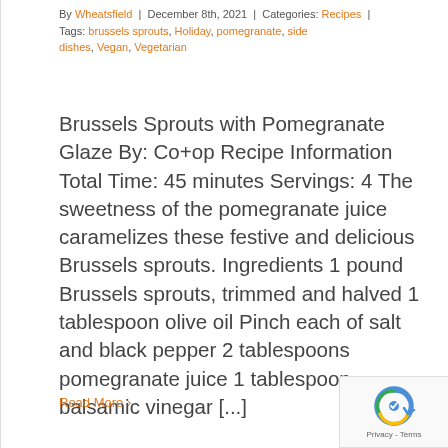By Wheatsfield | December 8th, 2021 | Categories: Recipes | Tags: brussels sprouts, Holiday, pomegranate, side dishes, Vegan, Vegetarian
Brussels Sprouts with Pomegranate Glaze By: Co+op Recipe Information Total Time: 45 minutes Servings: 4 The sweetness of the pomegranate juice caramelizes these festive and delicious Brussels sprouts. Ingredients 1 pound Brussels sprouts, trimmed and halved 1 tablespoon olive oil Pinch each of salt and black pepper 2 tablespoons pomegranate juice 1 tablespoon balsamic vinegar [...]
Read More >
[Figure (logo): reCAPTCHA badge with Privacy and Terms text]